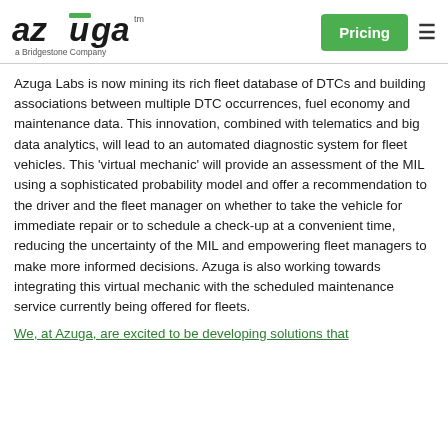[Figure (logo): Azuga logo — stylized italic 'azūga' text with a green macron bar over the 'u', and subtitle 'a Bridgestone Company']
Pricing  ☰
Azuga Labs is now mining its rich fleet database of DTCs and building associations between multiple DTC occurrences, fuel economy and maintenance data. This innovation, combined with telematics and big data analytics, will lead to an automated diagnostic system for fleet vehicles. This 'virtual mechanic' will provide an assessment of the MIL using a sophisticated probability model and offer a recommendation to the driver and the fleet manager on whether to take the vehicle for immediate repair or to schedule a check-up at a convenient time, reducing the uncertainty of the MIL and empowering fleet managers to make more informed decisions. Azuga is also working towards integrating this virtual mechanic with the scheduled maintenance service currently being offered for fleets.
We, at Azuga, are excited to be developing solutions that